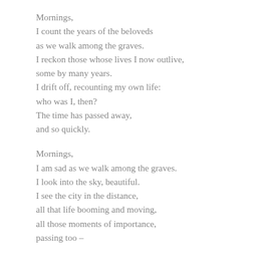Mornings,
I count the years of the beloveds
as we walk among the graves.
I reckon those whose lives I now outlive,
some by many years.
I drift off, recounting my own life:
who was I, then?
The time has passed away,
and so quickly.

Mornings,
I am sad as we walk among the graves.
I look into the sky, beautiful.
I see the city in the distance,
all that life booming and moving,
all those moments of importance,
passing too –